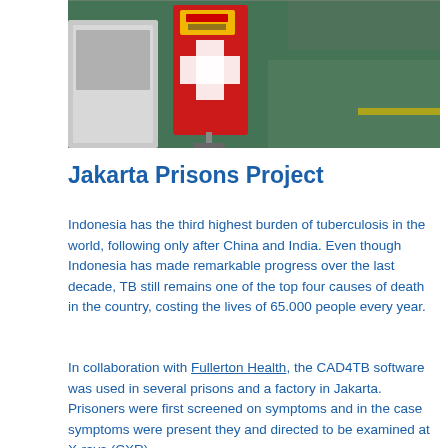[Figure (photo): Photo of a red banner/sign with a cross symbol in a large industrial or warehouse space with green floors]
Jakarta Prisons Project
Indonesia has the third highest burden of tuberculosis in the world, following only after China and India. Even though Indonesia has made remarkable progress over the last decade, TB still remains one of the top four causes of death in the country, costing the lives of 65.000 people every year.
In collaboration with Fullerton Health, the CAD4TB software was used in several prisons and a factory in Jakarta. Prisoners were first screened on symptoms and in the case symptoms were present they and directed to be examined at X-rays (CXR).